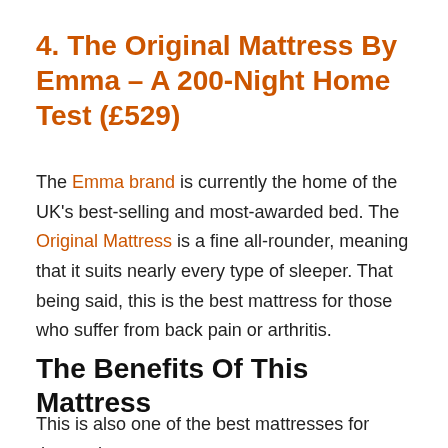4. The Original Mattress By Emma – A 200-Night Home Test (£529)
The Emma brand is currently the home of the UK's best-selling and most-awarded bed. The Original Mattress is a fine all-rounder, meaning that it suits nearly every type of sleeper. That being said, this is the best mattress for those who suffer from back pain or arthritis.
The Benefits Of This Mattress
This is also one of the best mattresses for those who